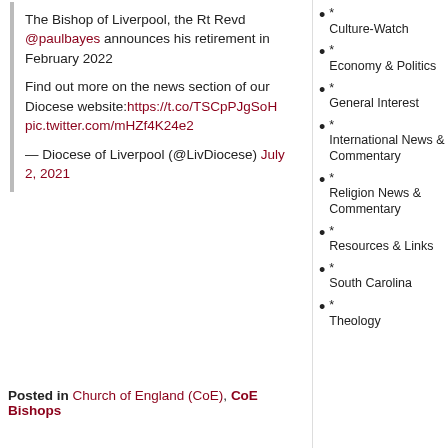The Bishop of Liverpool, the Rt Revd @paulbayes announces his retirement in February 2022

Find out more on the news section of our Diocese website:https://t.co/TSCpPJgSoH pic.twitter.com/mHZf4K24e2

— Diocese of Liverpool (@LivDiocese) July 2, 2021
print
‹ Tuesday Midday encouragement–Kansas teachers' students participate in their wedding
Congratulations to Italy for making the Euro2020 final ›
Posted in Church of England (CoE), CoE Bishops
* Culture-Watch
* Economy & Politics
* General Interest
* International News & Commentary
* Religion News & Commentary
* Resources & Links
* South Carolina
* Theology